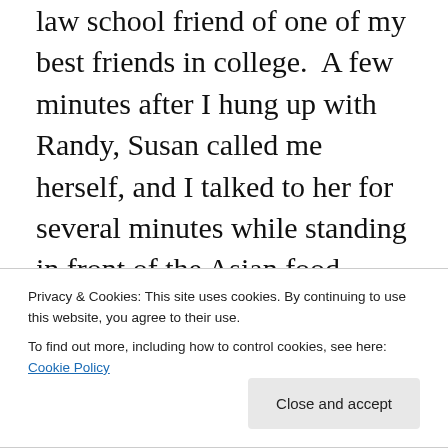law school friend of one of my best friends in college.  A few minutes after I hung up with Randy, Susan called me herself, and I talked to her for several minutes while standing in front of the Asian food section in our local Albertsons.
Susan and I knew each other's names but neither of us could place exactly where or when we had met.  She told me that she had grown up with horses but had not ridden since she was a kid.  Her daughter was very interested in horses and had always wanted one, but they didn't have
Privacy & Cookies: This site uses cookies. By continuing to use this website, you agree to their use.
To find out more, including how to control cookies, see here: Cookie Policy
more than to introduce herself to horses.  She loves to